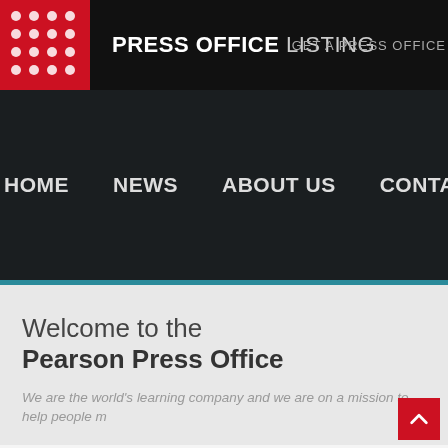PRESS OFFICE LISTING   GET A PRESS OFFICE
HOME   NEWS   ABOUT US   CONTACT US   WEBSITE
Welcome to the
Pearson Press Office
We are the world's learning company and we are on a mission to help people m